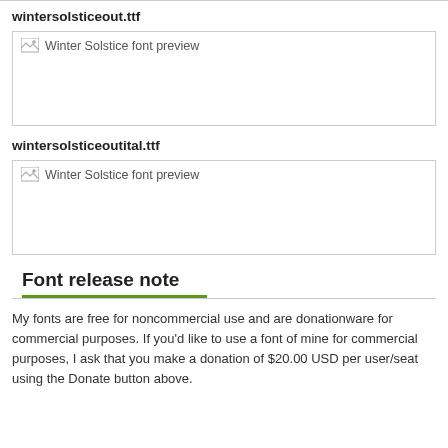wintersolsticeout.ttf
[Figure (screenshot): Winter Solstice font preview image (broken image placeholder)]
wintersolsticeoutital.ttf
[Figure (screenshot): Winter Solstice font preview image (broken image placeholder)]
Font release note
My fonts are free for noncommercial use and are donationware for commercial purposes. If you'd like to use a font of mine for commercial purposes, I ask that you make a donation of $20.00 USD per user/seat using the Donate button above.